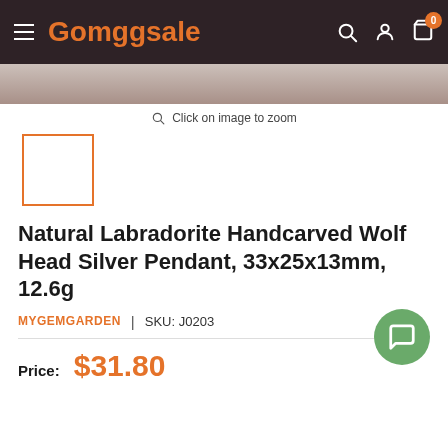Gomggsale
[Figure (photo): Product image strip showing a jewelry product, partially visible]
Click on image to zoom
[Figure (photo): Small thumbnail image with orange border, product thumbnail selector]
Natural Labradorite Handcarved Wolf Head Silver Pendant, 33x25x13mm, 12.6g
MYGEMGARDEN | SKU: J0203
Price: $31.80